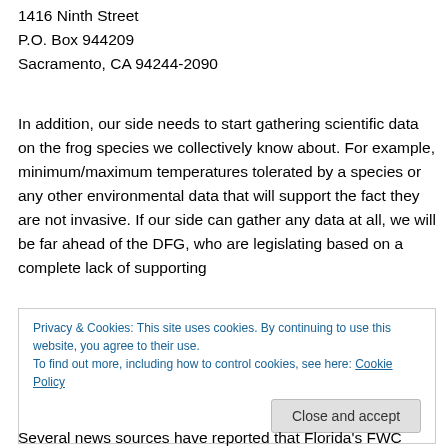1416 Ninth Street
P.O. Box 944209
Sacramento, CA 94244-2090
In addition, our side needs to start gathering scientific data on the frog species we collectively know about. For example, minimum/maximum temperatures tolerated by a species or any other environmental data that will support the fact they are not invasive. If our side can gather any data at all, we will be far ahead of the DFG, who are legislating based on a complete lack of supporting
Privacy & Cookies: This site uses cookies. By continuing to use this website, you agree to their use.
To find out more, including how to control cookies, see here: Cookie Policy
Several news sources have reported that Florida's FWC